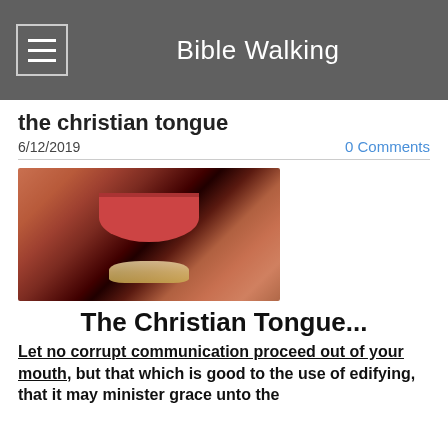Bible Walking
the christian tongue
6/12/2019
0 Comments
[Figure (photo): Close-up photograph of a human mouth open, showing teeth and lips, with warm skin tones.]
The Christian Tongue...
Let no corrupt communication proceed out of your mouth, but that which is good to the use of edifying, that it may minister grace unto the